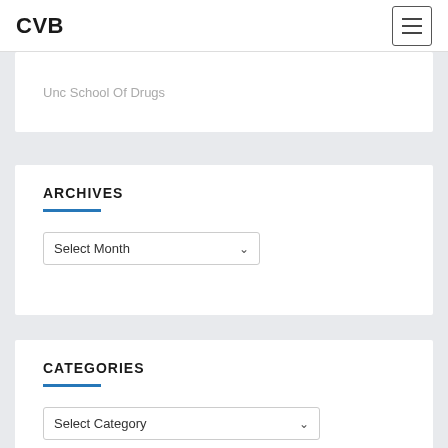CVB
Unc School Of Drugs
ARCHIVES
Select Month
CATEGORIES
Select Category